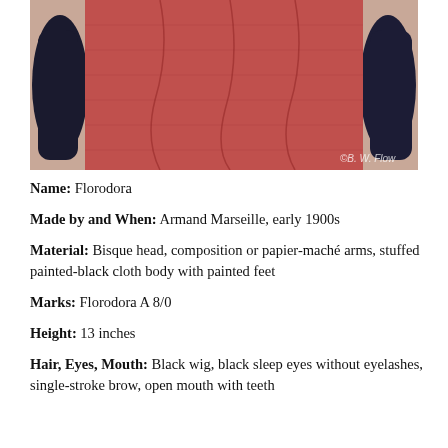[Figure (photo): Close-up photograph of a Florodora doll showing its torso area with dark composition arms and a red/salmon colored cloth body/dress. A watermark reading '©B. W. Flow' is visible in the lower right corner.]
Name: Florodora
Made by and When: Armand Marseille, early 1900s
Material: Bisque head, composition or papier-maché arms, stuffed painted-black cloth body with painted feet
Marks: Florodora A 8/0
Height: 13 inches
Hair, Eyes, Mouth: Black wig, black sleep eyes without eyelashes, single-stroke brow, open mouth with teeth